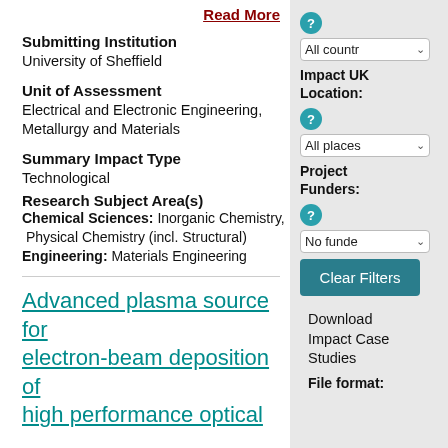Read More
Submitting Institution
University of Sheffield
Unit of Assessment
Electrical and Electronic Engineering, Metallurgy and Materials
Summary Impact Type
Technological
Research Subject Area(s)
Chemical Sciences: Inorganic Chemistry, Physical Chemistry (incl. Structural)
Engineering: Materials Engineering
Advanced plasma source for electron-beam deposition of high performance optical
All countr
Impact UK Location:
All places
Project Funders:
No funde
Clear Filters
Download Impact Case Studies
File format: